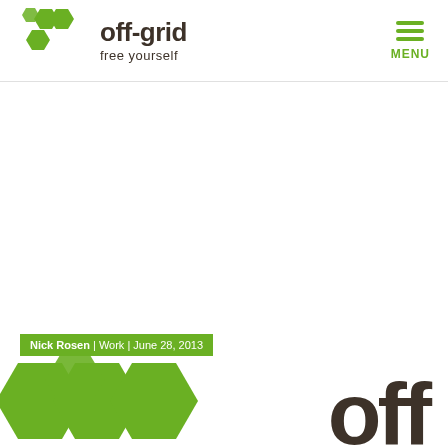[Figure (logo): off-grid free yourself logo with green hexagon honeycomb icon and dark brown text]
[Figure (infographic): Menu icon with three green horizontal bars and green MENU text]
Nick Rosen | Work | June 28, 2013
[Figure (logo): Large off-grid logo repeated at bottom with green hexagon shapes and dark off text]